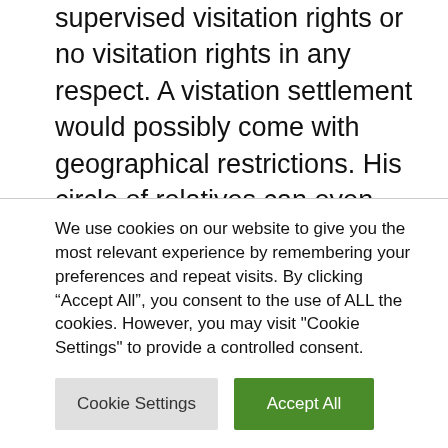supervised visitation rights or no visitation rights in any respect. A visitation settlement would possibly come with geographical restrictions. His circle of relatives can even have his kid toughen. Every state has its personal particular person pointers about kid toughen. It may get advanced. The standards in figuring out kid toughen incessantly come with the wage of the oldsters and the age of the youngsters. Nowadays, grandparents are granted visitation rights.
We use cookies on our website to give you the most relevant experience by remembering your preferences and repeat visits. By clicking "Accept All", you consent to the use of ALL the cookies. However, you may visit "Cookie Settings" to provide a controlled consent.